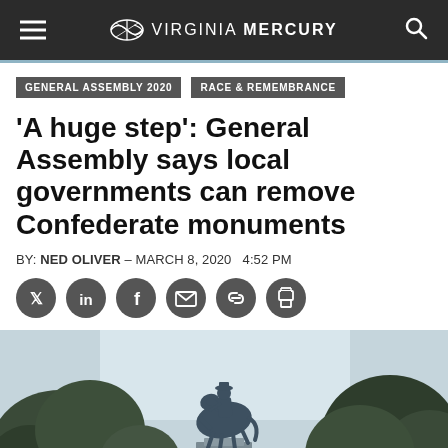Virginia Mercury
GENERAL ASSEMBLY 2020
RACE & REMEMBRANCE
'A huge step': General Assembly says local governments can remove Confederate monuments
BY: NED OLIVER - MARCH 8, 2020  4:52 PM
[Figure (photo): Bronze equestrian statue of a Confederate general on a tall pedestal, surrounded by trees, photographed from below against a light sky.]